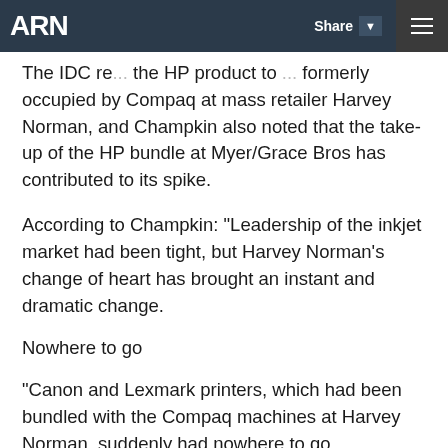ARN
The IDC re... the HP product to ... formerly occupied by Compaq at mass retailer Harvey Norman, and Champkin also noted that the take-up of the HP bundle at Myer/Grace Bros has contributed to its spike.
According to Champkin: "Leadership of the inkjet market had been tight, but Harvey Norman's change of heart has brought an instant and dramatic change.
Nowhere to go
"Canon and Lexmark printers, which had been bundled with the Compaq machines at Harvey Norman, suddenly had nowhere to go.